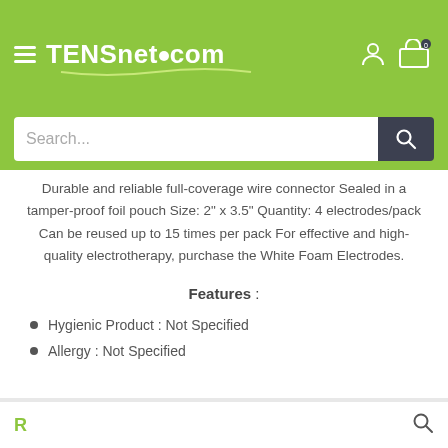TENSnet.com
Durable and reliable full-coverage wire connector Sealed in a tamper-proof foil pouch Size: 2" x 3.5" Quantity: 4 electrodes/pack Can be reused up to 15 times per pack For effective and high-quality electrotherapy, purchase the White Foam Electrodes.
Features :
Hygienic Product : Not Specified
Allergy : Not Specified